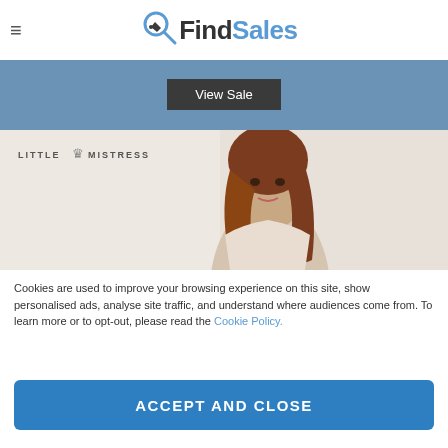FindSales
[Figure (screenshot): Blue banner with 'View Sale' button on steel blue background]
[Figure (photo): Little Mistress fashion brand banner showing a young woman with long brown hair on a light grey background with 'LITTLE MISTRESS' text logo]
Cookies are used to improve your browsing experience on this site, show personalised ads, analyse site traffic, and understand where audiences come from. To learn more or to opt-out, please read the Cookie Policy.
ACCEPT AND CLOSE